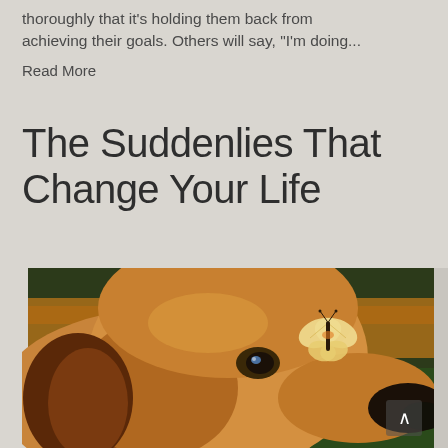thoroughly that it's holding them back from achieving their goals. Others will say, "I'm doing..."
Read More
The Suddenlies That Change Your Life
[Figure (photo): Close-up photo of a golden/tan dog's face in profile looking upward, with a pale yellow butterfly perched near its nose. Background shows warm orange-brown tones with some green.]